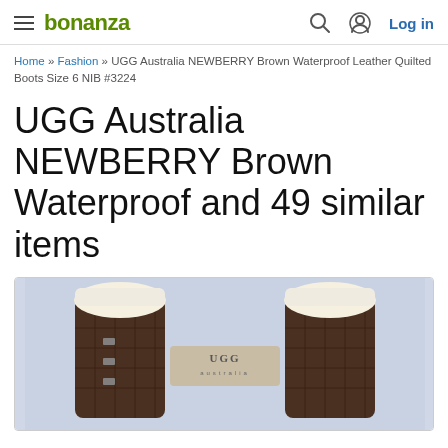bonanza   Log in
Home » Fashion » UGG Australia NEWBERRY Brown Waterproof Leather Quilted Boots Size 6 NIB #3224
UGG Australia NEWBERRY Brown Waterproof and 49 similar items
[Figure (photo): Photo of UGG Australia NEWBERRY brown waterproof quilted leather boots with cream shearling trim, showing buckle lace-up detail and UGG Australia branding label.]